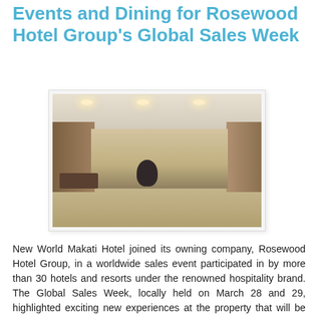Events and Dining for Rosewood Hotel Group's Global Sales Week
[Figure (photo): Hotel lobby interior showing a large open atrium with high ceilings, recessed lighting, marble floors, a reception desk on the left, a large dark sculpture in the center, and a staircase in the background.]
New World Makati Hotel joined its owning company, Rosewood Hotel Group, in a worldwide sales event participated in by more than 30 hotels and resorts under the renowned hospitality brand. The Global Sales Week, locally held on March 28 and 29, highlighted exciting new experiences at the property that will be available to guests in the coming months to further spur both domestic and international tourism after the challenges brought about by the